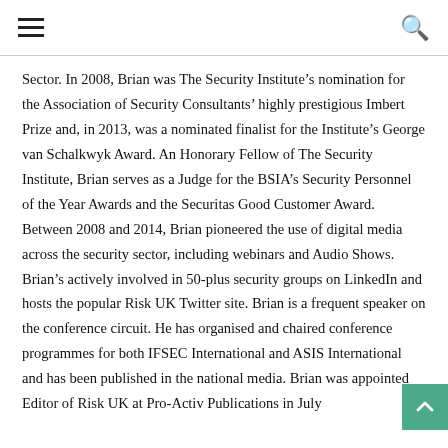☰  🔍
Sector. In 2008, Brian was The Security Institute's nomination for the Association of Security Consultants' highly prestigious Imbert Prize and, in 2013, was a nominated finalist for the Institute's George van Schalkwyk Award. An Honorary Fellow of The Security Institute, Brian serves as a Judge for the BSIA's Security Personnel of the Year Awards and the Securitas Good Customer Award. Between 2008 and 2014, Brian pioneered the use of digital media across the security sector, including webinars and Audio Shows. Brian's actively involved in 50-plus security groups on LinkedIn and hosts the popular Risk UK Twitter site. Brian is a frequent speaker on the conference circuit. He has organised and chaired conference programmes for both IFSEC International and ASIS International and has been published in the national media. Brian was appointed Editor of Risk UK at Pro-Activ Publications in July